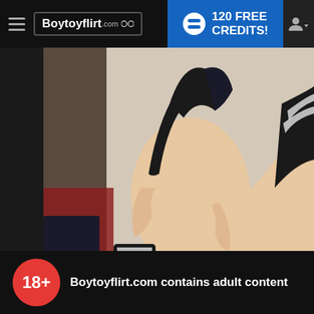Boytoyflirt.com — 120 FREE CREDITS!
[Figure (photo): Webcam show screenshot showing a young woman in black thigh-high socks with white stripes, partially undressed, in a sexual pose against a light background.]
Boytoyflirt.com contains adult content
By using the site, you acknowledge you have read our Privacy Policy, and agree to our Terms and Conditions.
We use cookies to optimize your experience, analyze traffic, and deliver more personalized service. To learn more, please see our Privacy Policy.
I AGREE